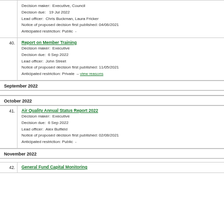Decision maker:  Executive, Council
Decision due:   19 Jul 2022
Lead officer:  Chris Buckman, Laura Fricker
Notice of proposed decision first published: 04/06/2021
Anticipated restriction: Public  -
40. Report on Member Training
Decision maker:  Executive
Decision due:  6 Sep 2022
Lead officer:  John Street
Notice of proposed decision first published: 11/05/2021
Anticipated restriction: Private  – view reasons
September 2022
October 2022
41. Air Quality Annual Status Report 2022
Decision maker:  Executive
Decision due:  6 Sep 2022
Lead officer:  Alex Bulfield
Notice of proposed decision first published: 02/08/2021
Anticipated restriction: Public  -
November 2022
42. General Fund Capital Monitoring